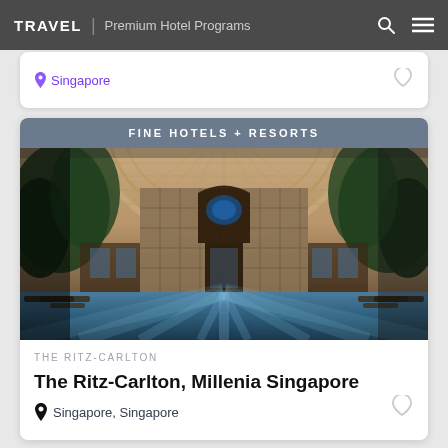TRAVEL | Premium Hotel Programs
FINE HOTELS + RESORTS
[Figure (photo): Interior/exterior view of The Ritz-Carlton, Millenia Singapore showing a grand arched lattice ceiling, pool with reflections, lounge chairs, and lush greenery]
THE RITZ-CARLTON
The Ritz-Carlton, Millenia Singapore
Singapore, Singapore